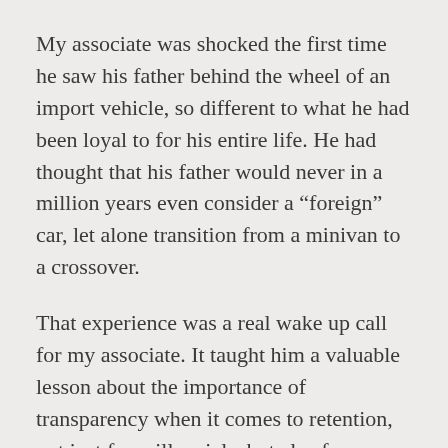My associate was shocked the first time he saw his father behind the wheel of an import vehicle, so different to what he had been loyal to for his entire life. He had thought that his father would never in a million years even consider a “foreign” car, let alone transition from a minivan to a crossover.
That experience was a real wake up call for my associate. It taught him a valuable lesson about the importance of transparency when it comes to retention, not just for millennials, but also for non-millennial generations. Millennials, Generation X, and Baby Boomers all research purchases, and have the same appreciation for transparency.
The ease my friend’s father enjoyed with this import dealer is enjoyed just as much by every generation, just as every generation shops and researches online